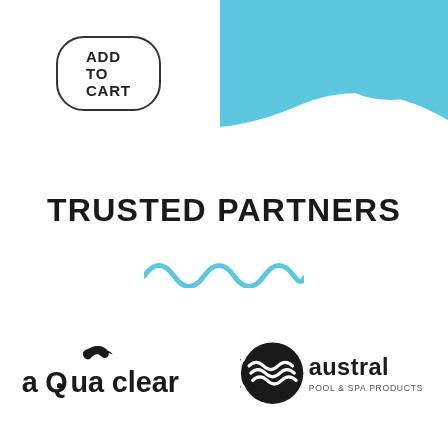[Figure (illustration): Blue wave / cloud decorative background shape in top-right corner of the page]
ADD TO CART
TRUSTED PARTNERS
[Figure (illustration): Three blue wave squiggle decorative divider]
[Figure (logo): aQua clear logo - stylized text with dolphin graphic]
[Figure (logo): Austral Pool & Spa Products logo - circular swirl emblem with text]